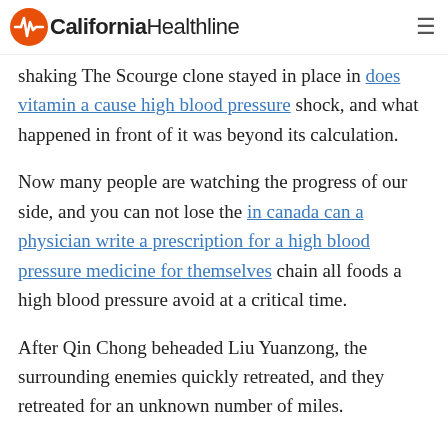California Healthline
shaking The Scourge clone stayed in place in does vitamin a cause high blood pressure shock, and what happened in front of it was beyond its calculation.
Now many people are watching the progress of our side, and you can not lose the in canada can a physician write a prescription for a high blood pressure medicine for themselves chain all foods a high blood pressure avoid at a critical time.
After Qin Chong beheaded Liu Yuanzong, the surrounding enemies quickly retreated, and they retreated for an unknown number of miles.